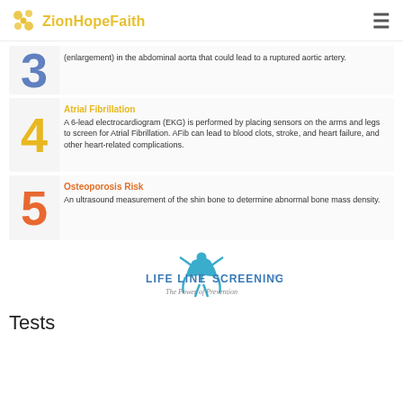ZionHopeFaith
(enlargement) in the abdominal aorta that could lead to a ruptured aortic artery.
Atrial Fibrillation — A 6-lead electrocardiogram (EKG) is performed by placing sensors on the arms and legs to screen for Atrial Fibrillation. AFib can lead to blood clots, stroke, and heart failure, and other heart-related complications.
Osteoporosis Risk — An ultrasound measurement of the shin bone to determine abnormal bone mass density.
[Figure (logo): Life Line Screening - The Power of Prevention logo]
Tests